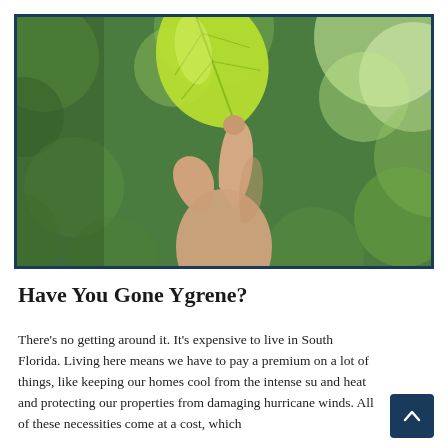[Figure (photo): A hand holding a bright green leaf up toward a bokeh background of green trees and sunlight.]
Have You Gone Ygrene?
There’s no getting around it. It’s expensive to live in South Florida. Living here means we have to pay a premium on a lot of things, like keeping our homes cool from the intense su… and heat and protecting our properties from damaging hurricane winds. All of these necessities come at a cost, which